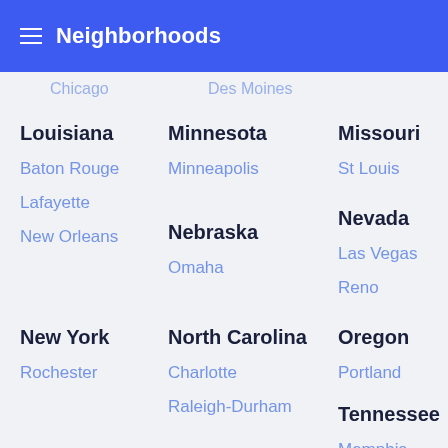Neighborhoods
Chicago   Des Moines
Louisiana
Baton Rouge
Lafayette
New Orleans
Minnesota
Minneapolis
Nebraska
Omaha
Missouri
St Louis
Nevada
Las Vegas
Reno
New York
Rochester
North Carolina
Charlotte
Raleigh-Durham
Oregon
Portland
Tennessee
Memphis
Nashville
Texas
Utah
Washington